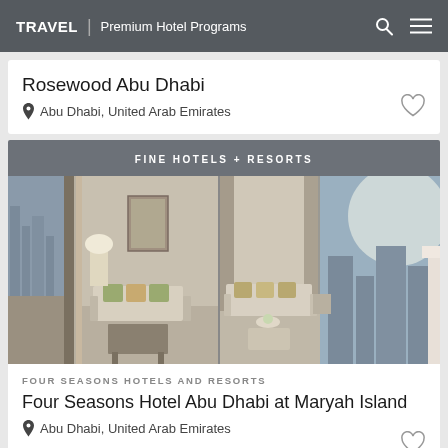TRAVEL | Premium Hotel Programs
Rosewood Abu Dhabi
Abu Dhabi, United Arab Emirates
FINE HOTELS + RESORTS
[Figure (photo): Luxury hotel suite interior with large windows, floor-to-ceiling curtains, elegant sofas and seating area, photographed in two panels]
FOUR SEASONS HOTELS AND RESORTS
Four Seasons Hotel Abu Dhabi at Maryah Island
Abu Dhabi, United Arab Emirates